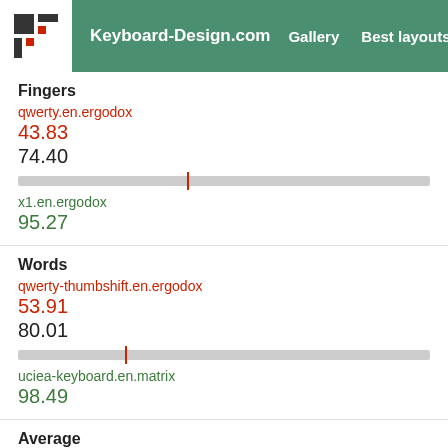Keyboard-Design.com | Gallery | Best layouts | Too
Fingers
qwerty.en.ergodox
43.83
74.40
x1.en.ergodox
95.27
Words
qwerty-thumbshift.en.ergodox
53.91
80.01
uciea-keyboard.en.matrix
98.49
Average